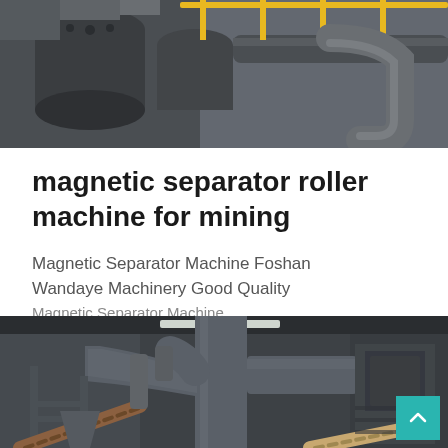[Figure (photo): Industrial machinery photo showing pipes, ducts, and mechanical equipment from above/close-up angle. Gray metal pipes and yellow railing visible.]
magnetic separator roller machine for mining
Magnetic Separator Machine Foshan Wandaye Machinery Good Quality Magnetic Separator Machine
[Figure (photo): Interior of industrial facility showing large gray pipes, ductwork, conveyor systems, and heavy machinery equipment for mining or mineral processing.]